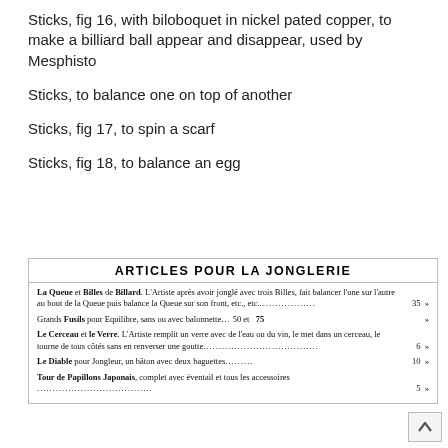Sticks, fig 16, with biloboquet in nickel pated copper, to make a billiard ball appear and disappear, used by Mesphisto
Sticks, to balance one on top of another
Sticks, fig 17, to spin a scarf
Sticks, fig 18, to balance an egg
ARTICLES POUR LA JONGLERIE
| La Queue et Billes de Billard. L'Artiste après avoir jonglé avec trois Billes, fait balancer l'une sur l'autre au bout de la Queue puis balance la Queue sur son front, etc., etc………………… | 35 | » |
| Grands Fusils pour Equilibre, sans ou avec balonnette… 50 et | 75 | » |
| Le Cerceau et le Verre. L'Artiste remplit un verre avec de l'eau ou du vin, le met dans un cerceau, le tourne de tous côtés sans en renverser une goutte…………………………………………… | 6 | » |
| Le Diable pour Jongleur, un bâton avec deux baguettes………… | 10 | » |
| Tour de Papillons Japonais, complet avec éventail et tous les accessoires…………………………………………………………… | 5 | » |